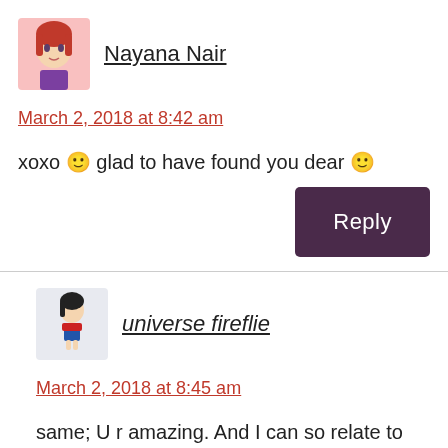Nayana Nair
March 2, 2018 at 8:42 am
xoxo 🙂 glad to have found you dear 🙂
Reply
universe fireflie
March 2, 2018 at 8:45 am
same; U r amazing. And I can so relate to the